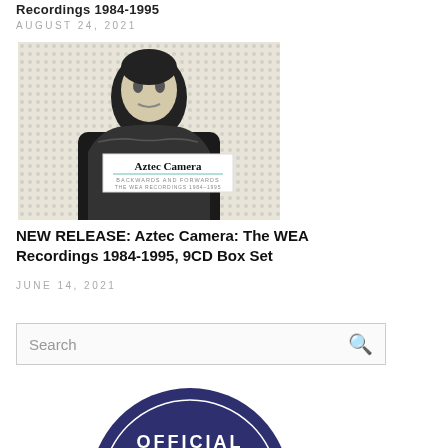Recordings 1984-1995
AUGUST 24, 2021
[Figure (photo): Album cover artwork for Aztec Camera: Backwards and Forwards - The WEA Recordings 1984-1995. Black and white pop-art style image of a person with the Aztec Camera logo overlaid.]
NEW RELEASE: Aztec Camera: The WEA Recordings 1984-1995, 9CD Box Set
JUNE 14, 2021
Search
[Figure (logo): Dark navy blue circular badge with the word OFFICIAL in white capital letters and a circular border design.]